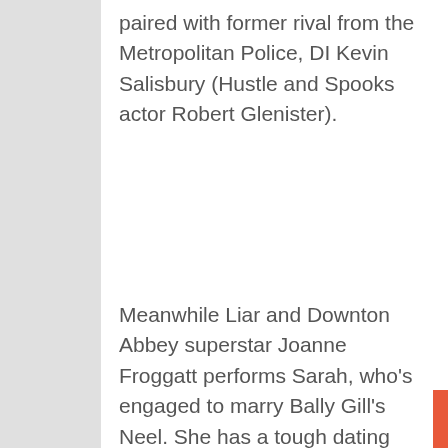paired with former rival from the Metropolitan Police, DI Kevin Salisbury (Hustle and Spooks actor Robert Glenister).
Meanwhile Liar and Downton Abbey superstar Joanne Froggatt performs Sarah, who's engaged to marry Bally Gill's Neel. She has a tough dating